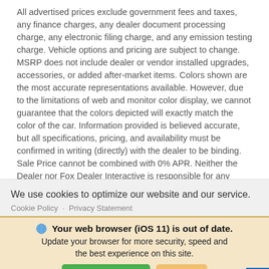All advertised prices exclude government fees and taxes, any finance charges, any dealer document processing charge, any electronic filing charge, and any emission testing charge. Vehicle options and pricing are subject to change. MSRP does not include dealer or vendor installed upgrades, accessories, or added after-market items. Colors shown are the most accurate representations available. However, due to the limitations of web and monitor color display, we cannot guarantee that the colors depicted will exactly match the color of the car. Information provided is believed accurate, but all specifications, pricing, and availability must be confirmed in writing (directly) with the dealer to be binding. Sale Price cannot be combined with 0% APR. Neither the Dealer nor Fox Dealer Interactive is responsible for any inaccuracies contained herein and by using this application you the
We use cookies to optimize our website and our service.
Cookie Policy · Privacy Statement
Your web browser (iOS 11) is out of date. Update your browser for more security, speed and the best experience on this site.